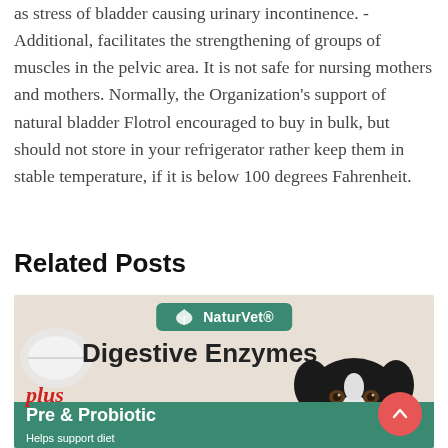as stress of bladder causing urinary incontinence. - Additional, facilitates the strengthening of groups of muscles in the pelvic area. It is not safe for nursing mothers and mothers. Normally, the Organization's support of natural bladder Flotrol encouraged to buy in bulk, but should not store in your refrigerator rather keep them in stable temperature, if it is below 100 degrees Fahrenheit.
Related Posts
[Figure (photo): NaturVet Digestive Enzymes Plus Pre & Probiotic product advertisement image featuring a black and white border collie dog, a NaturVet green badge logo, bold product name text, green banner at bottom with 'Pre & Probiotic' and 'Helps support diet' text, plus a red scroll-to-top button.]